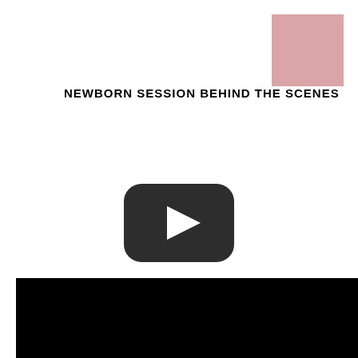[Figure (illustration): Pink/mauve square decorative element in the top-right corner]
NEWBORN SESSION BEHIND THE SCENES
[Figure (other): YouTube-style play button icon — dark rounded rectangle with white triangle play arrow in the center]
[Figure (photo): Black rectangle at the bottom of the page, likely a video thumbnail or image placeholder]